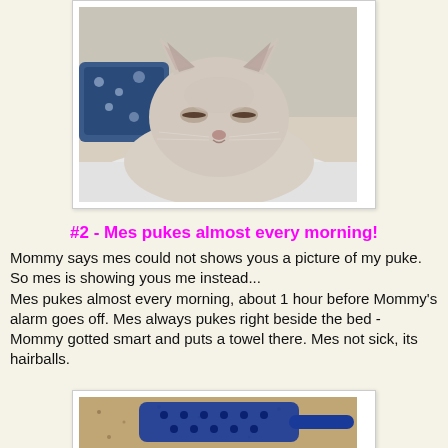[Figure (photo): A light-colored Siamese cat with closed/squinting eyes resting on white bedding with a blue patterned pillow in the background.]
#2 - Mes pukes almost every morning!
Mommy says mes could not shows yous a picture of my puke. So mes is showing yous me instead...
Mes pukes almost every morning, about 1 hour before Mommy's alarm goes off. Mes always pukes right beside the bed - Mommy gotted smart and puts a towel there. Mes not sick, its hairballs.
[Figure (photo): A blue litter scoop resting in a litter box filled with sandy cat litter.]